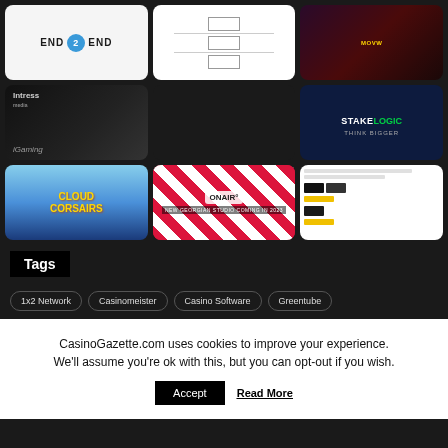[Figure (screenshot): Grid of 8 thumbnail images from a casino/gaming website including: END 2 END logo, a diagram screenshot, casino platform screenshot, Intress iGaming, Stakelogic Think Bigger, Cloud Corsairs game, OnAir Georgian Studio Coming in 2023, and a website screenshot]
Tags
1x2 Network
Casinomeister
Casino Software
Greentube
CasinoGazette.com uses cookies to improve your experience. We'll assume you're ok with this, but you can opt-out if you wish.
Accept
Read More